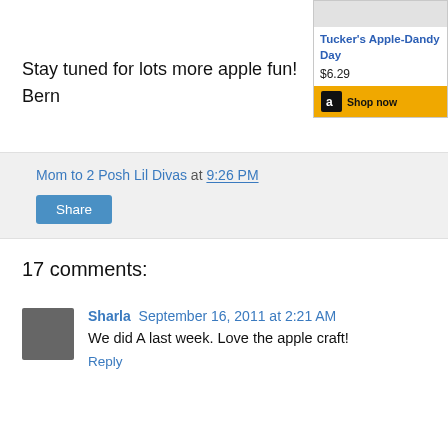[Figure (screenshot): Amazon shopping widget showing Tucker's Apple-Dandy Day book priced at $6.29 with a Shop now button]
Stay tuned for lots more apple fun!
Bern
Mom to 2 Posh Lil Divas at 9:26 PM
Share
17 comments:
Sharla  September 16, 2011 at 2:21 AM
We did A last week. Love the apple craft!
Reply